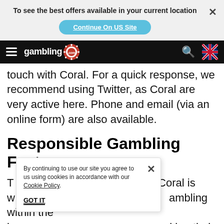To see the best offers available in your current location
Continue On US Site
gambling.com navigation bar
touch with Coral. For a quick response, we recommend using Twitter, as Coral are very active here. Phone and email (via an online form) are also available.
Responsible Gambling Features
...about how Coral is w... ...ambling within the in... ...aking their role seriously as you can't even access it once logged in
By continuing to use our site you agree to us using cookies in accordance with our Cookie Policy. GOT IT